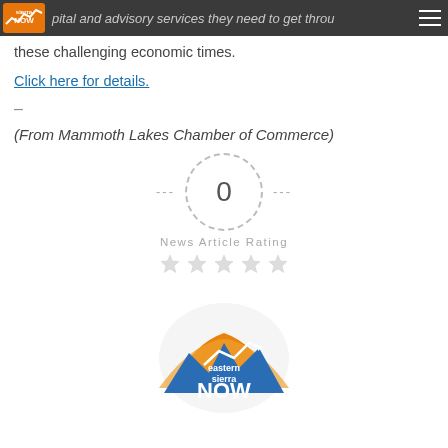capital and advisory services they need to get through these challenging economic times.
capital and advisory services they need to get through these challenging economic times.
Click here for details.
–
(From Mammoth Lakes Chamber of Commerce)
[Figure (infographic): A rating widget showing 0 in a dashed circle with dashes on either side, labeled 'News Article Rating' with 5 empty grey stars below]
[Figure (logo): Eastern Sierra NOW logo - circular logo with orange and blue mountain/graph design]